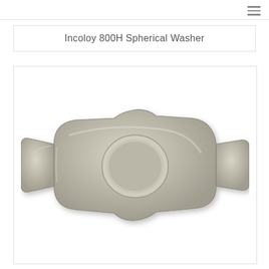Incoloy 800H Spherical Washer
[Figure (photo): Photo of an Incoloy 800H Spherical Washer — a flat metallic washer with a circular hole in the center and two rectangular tab-like protrusions on opposite sides (left and right), giving it a figure-8 or bone-like outline. The surface has a brushed silver/nickel finish.]